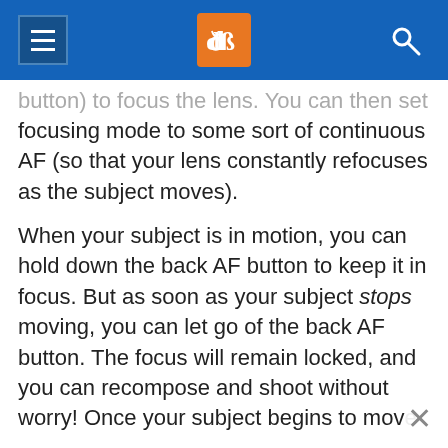dPS navigation header
button) to focus the lens. You can then set your focusing mode to some sort of continuous AF (so that your lens constantly refocuses as the subject moves).
When your subject is in motion, you can hold down the back AF button to keep it in focus. But as soon as your subject stops moving, you can let go of the back AF button. The focus will remain locked, and you can recompose and shoot without worry! Once your subject begins to move